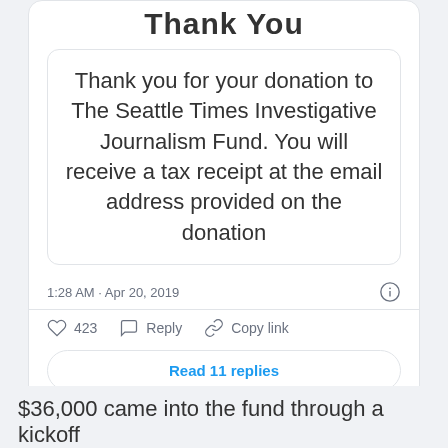Thank You
Thank you for your donation to The Seattle Times Investigative Journalism Fund. You will receive a tax receipt at the email address provided on the donation
1:28 AM · Apr 20, 2019
423  Reply  Copy link
Read 11 replies
$36,000 came into the fund through a kickoff